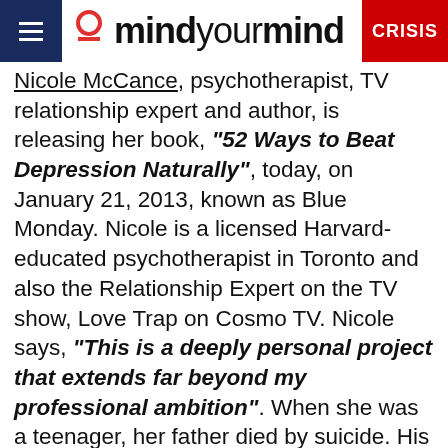mindyourmind CRISIS
Nicole McCance, psychotherapist, TV relationship expert and author, is releasing her book, “52 Ways to Beat Depression Naturally”, today, on January 21, 2013, known as Blue Monday. Nicole is a licensed Harvard-educated psychotherapist in Toronto and also the Relationship Expert on the TV show, Love Trap on Cosmo TV. Nicole says, “This is a deeply personal project that extends far beyond my professional ambition”. When she was a teenager, her father died by suicide. His funeral was on Nicole’s 18th birthday. She made a decision that if she could make it through that terrible time in her life that she would devote her life to helping others. In our interview, we talk to Nicole about depression, her book release and how she